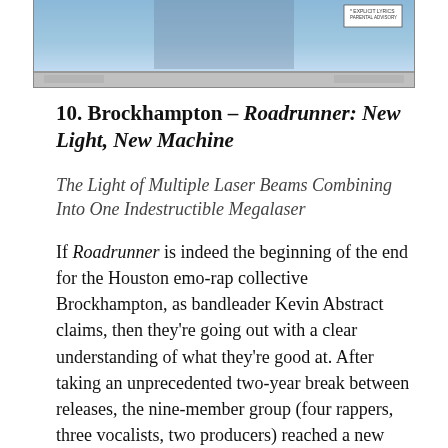[Figure (photo): Partial view of an album cover for Brockhampton's Roadrunner: New Light, New Machine, showing the bottom portion of the CD case with a blue/teal color scheme and an Explicit Lyrics advisory sticker in the top right corner.]
10. Brockhampton – Roadrunner: New Light, New Machine
The Light of Multiple Laser Beams Combining Into One Indestructible Megalaser
If Roadrunner is indeed the beginning of the end for the Houston emo-rap collective Brockhampton, as bandleader Kevin Abstract claims, then they're going out with a clear understanding of what they're good at. After taking an unprecedented two-year break between releases, the nine-member group (four rappers, three vocalists, two producers) reached a new level of clarity on its sixth LP, leaving its kitchen-